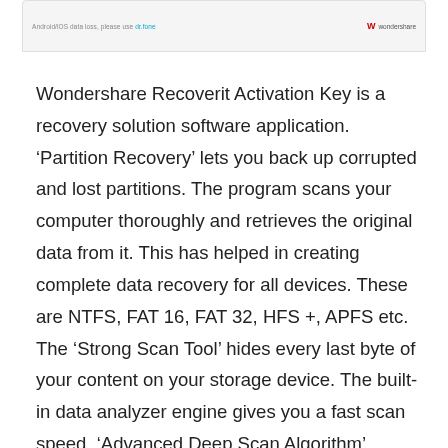Android/iOS data loss, please use dr.fone    W wondershare
Wondershare Recoverit Activation Key is a recovery solution software application. ‘Partition Recovery’ lets you back up corrupted and lost partitions. The program scans your computer thoroughly and retrieves the original data from it. This has helped in creating complete data recovery for all devices. These are NTFS, FAT 16, FAT 32, HFS +, APFS etc. The ‘Strong Scan Tool’ hides every last byte of your content on your storage device. The built-in data analyzer engine gives you a fast scan speed. ‘Advanced Deep Scan Algorithm’ provides an in-depth analysis of the structure of your content. You can also back up your content from formatted hard drives, remove raw hard drives, and resize partitions.